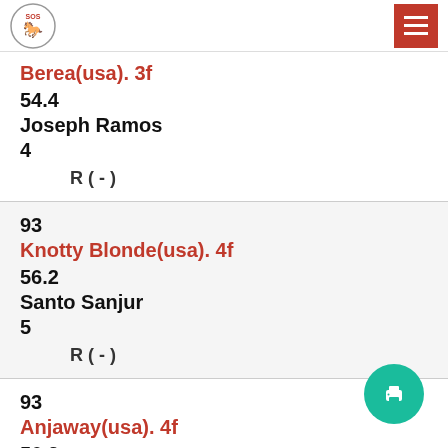Logo and navigation menu
Berea(usa). 3f
54.4
Joseph Ramos
4
R ( - )
93
Knotty Blonde(usa). 4f
56.2
Santo Sanjur
5
R ( - )
93
Anjaway(usa). 4f
56.2